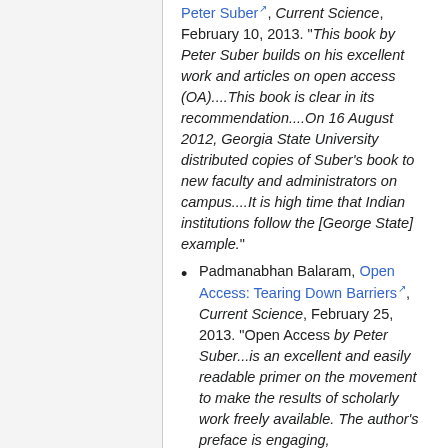Peter Suber, Current Science, February 10, 2013. "This book by Peter Suber builds on his excellent work and articles on open access (OA)....This book is clear in its recommendation....On 16 August 2012, Georgia State University distributed copies of Suber's book to new faculty and administrators on campus....It is high time that Indian institutions follow the [George State] example."
Padmanabhan Balaram, Open Access: Tearing Down Barriers, Current Science, February 25, 2013. "Open Access by Peter Suber...is an excellent and easily readable primer on the movement to make the results of scholarly work freely available. The author's preface is engaging,